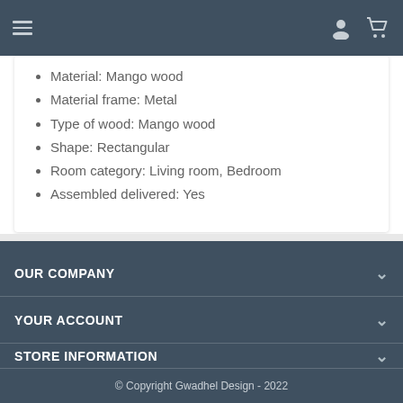Navigation bar with hamburger menu, user icon, and cart icon
Material: Mango wood
Material frame: Metal
Type of wood: Mango wood
Shape: Rectangular
Room category: Living room, Bedroom
Assembled delivered: Yes
OUR COMPANY
YOUR ACCOUNT
STORE INFORMATION
© Copyright Gwadhel Design - 2022